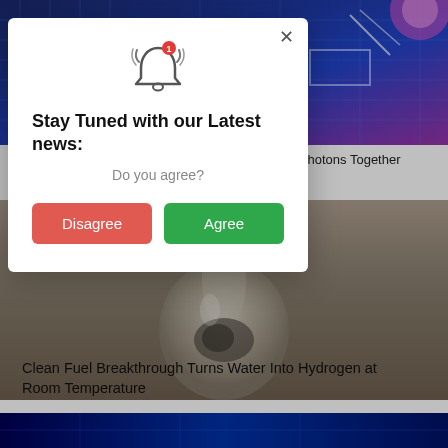[Figure (screenshot): Background: blue engineering/circuit grid image at top, water drop photo in middle, blue abstract image strip at bottom]
g Photons Together
[Figure (screenshot): Modal dialog popup with bell notification icon, 'Stay Tuned with our Latest news:' heading, 'Do you agree?' subtext, and Disagree/Agree buttons]
Stay Tuned with our Latest news:
Do you agree?
Disagree
Agree
Clean Fuel Breakthrough Turns Water Into Hydrogen at Room Temperature